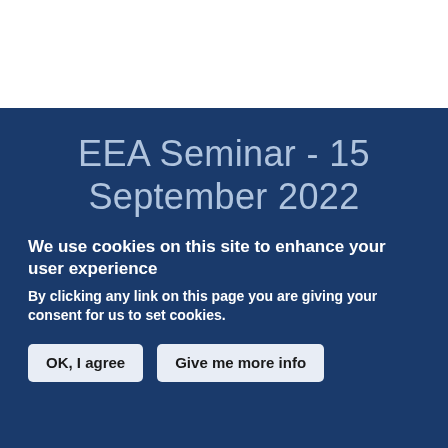EEA Seminar - 15 September 2022
We use cookies on this site to enhance your user experience
By clicking any link on this page you are giving your consent for us to set cookies.
OK, I agree | Give me more info